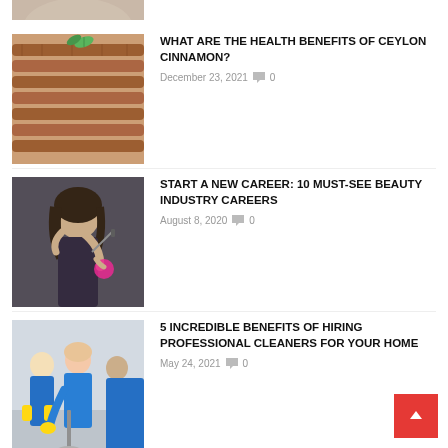[Figure (photo): Partial image cut off at top of page]
[Figure (photo): Cinnamon sticks stacked with a green leaf on top]
WHAT ARE THE HEALTH BENEFITS OF CEYLON CINNAMON?
December 23, 2021  0
[Figure (photo): Woman applying makeup with beauty sponge]
START A NEW CAREER: 10 MUST-SEE BEAUTY INDUSTRY CAREERS
August 8, 2020  0
[Figure (photo): Professional cleaners in blue uniforms with yellow gloves cleaning]
5 INCREDIBLE BENEFITS OF HIRING PROFESSIONAL CLEANERS FOR YOUR HOME
May 24, 2021  0